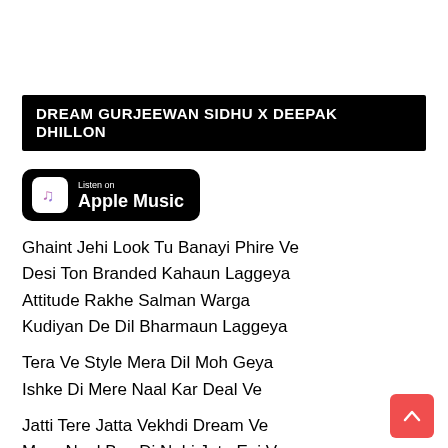DREAM GURJEEWAN SIDHU X DEEPAK DHILLON
[Figure (logo): Listen on Apple Music badge — black rounded rectangle with Apple Music logo and text]
Ghaint Jehi Look Tu Banayi Phire Ve
Desi Ton Branded Kahaun Laggeya
Attitude Rakhe Salman Warga
Kudiyan De Dil Bharmaun Laggeya
Tera Ve Style Mera Dil Moh Geya
Ishke Di Mere Naal Kar Deal Ve
Jatti Tere Jatta Vekhdi Dream Ve
Mera Naal Bas Di Nahi Jata Eni Ve